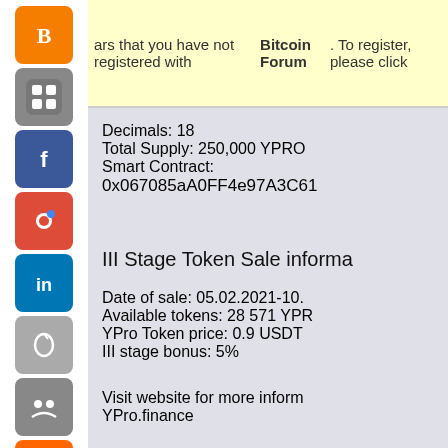ars that you have not registered with Bitcoin Forum. To register, please click
Decimals: 18
Total Supply: 250,000 YPRO
Smart Contract: 0x067085aA0FF4e97A3C61
III Stage Token Sale informa
Date of sale: 05.02.2021-10.
Available tokens: 28 571 YPR
YPro Token price: 0.9 USDT
III stage bonus: 5%
Visit website for more inform
YPro.finance